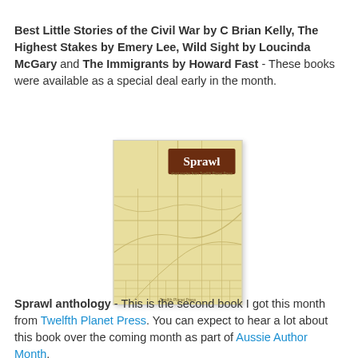Best Little Stories of the Civil War by C Brian Kelly, The Highest Stakes by Emery Lee, Wild Sight by Loucinda McGary and The Immigrants by Howard Fast - These books were available as a special deal early in the month.
[Figure (photo): Book cover of 'Sprawl' anthology published by Twelfth Planet Press. Cover shows a yellow/cream background with a stylized map of roads and city grid, with a dark brown rectangular label reading 'Sprawl' in white text at the top right.]
Sprawl anthology - This is the second book I got this month from Twelfth Planet Press. You can expect to hear a lot about this book over the coming month as part of Aussie Author Month.